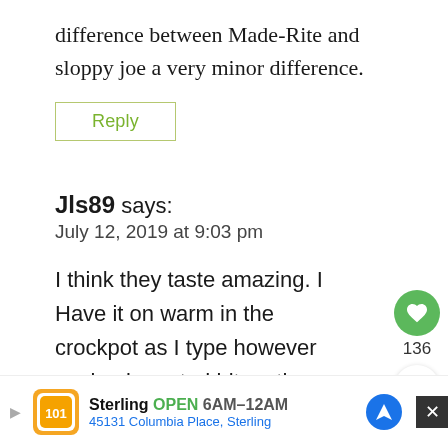difference between Made-Rite and sloppy joe a very minor difference.
Reply
Jls89 says:
July 12, 2019 at 9:03 pm
I think they taste amazing. I Have it on warm in the crockpot as I type however cook mine a tad bit on the
[Figure (screenshot): What's Next promo widget showing Italian Beef Recipe (Cro...) with a circular food image]
[Figure (infographic): Sterling restaurant ad bar: Sterling OPEN 6AM-12AM, 45131 Columbia Place, Sterling, with logo and navigation/close buttons]